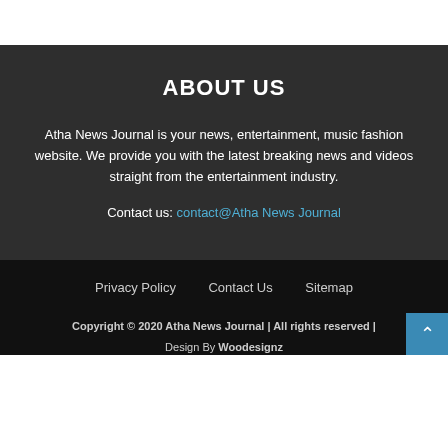ABOUT US
Atha News Journal is your news, entertainment, music fashion website. We provide you with the latest breaking news and videos straight from the entertainment industry.
Contact us: contact@Atha News Journal
Privacy Policy   Contact Us   Sitemap
Copyright © 2020 Atha News Journal | All rights reserved | Design By Woodesignz